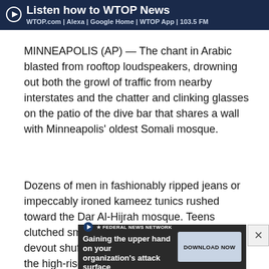Listen how to WTOP News | WTOP.com | Alexa | Google Home | WTOP App | 103.5 FM
MINNEAPOLIS (AP) — The chant in Arabic blasted from rooftop loudspeakers, drowning out both the growl of traffic from nearby interstates and the chatter and clinking glasses on the patio of the dive bar that shares a wall with Minneapolis' oldest Somali mosque.
Dozens of men in fashionably ripped jeans or impeccably ironed kameez tunics rushed toward the Dar Al-Hijrah mosque. Teens clutched smartphones, and some of the older devout shuffled in with the aid of walkers from the high-rise c...ands
[Figure (screenshot): Advertisement banner for Federal News Network: 'Gaining the upper hand on your organization's attack surface' with a DOWNLOAD NOW button, overlaid on bottom portion of article text]